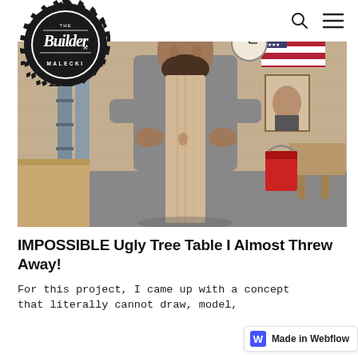John The Builder Malecki — navigation with search and menu icons
[Figure (photo): A bearded man in a gray hoodie standing in a woodworking workshop, holding a large wooden board vertically. Workshop background with plywood walls, tools, an American flag decoration, a red bucket, and workbenches.]
IMPOSSIBLE Ugly Tree Table I Almost Threw Away!
For this project, I came up with a concept that literally cannot draw, model,
[Figure (logo): Made in Webflow badge — blue W icon on left, text 'Made in Webflow' on right, white background with border]